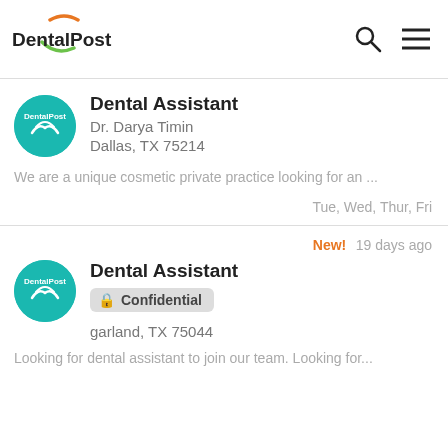DentalPost
Dental Assistant
Dr. Darya Timin
Dallas, TX 75214
We are a unique cosmetic private practice looking for an ...
Tue, Wed, Thur, Fri
New! 19 days ago
Dental Assistant
Confidential
garland, TX 75044
Looking for dental assistant to join our team. Looking for...